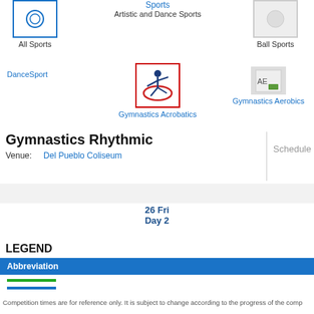[Figure (screenshot): Navigation icons: All Sports icon with blue border, Artistic and Dance Sports link in center, Ball Sports icon on right]
All Sports
Sports
Artistic and Dance Sports
Ball Sports
DanceSport
[Figure (logo): Gymnastics Acrobatics logo - figure with red oval, blue border box]
Gymnastics Acrobatics
[Figure (logo): Gymnastics Aerobics AE logo placeholder]
Gymnastics Aerobics
Gymnastics Rhythmic
Venue:	Del Pueblo Coliseum
Schedule
26 Fri
Day 2
LEGEND
| Abbreviation |
| --- |
Competition times are for reference only. It is subject to change according to the progress of the comp